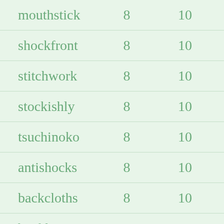| mouthstick | 8 | 10 |
| shockfront | 8 | 10 |
| stitchwork | 8 | 10 |
| stockishly | 8 | 10 |
| tsuchinoko | 8 | 10 |
| antishocks | 8 | 10 |
| backcloths | 8 | 10 |
| buckhoists | 8 | 10 |
| catholicks | 8 | 10 |
| charthooks | 8 | 10 |